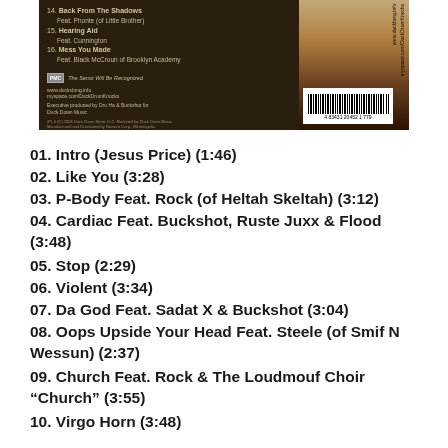[Figure (photo): Back cover of a hip-hop album CD showing tracklist image with dark brown background, logo bar, URLs, executive producer credits, legal text, and a barcode on the right side with a figure in the background.]
01. Intro (Jesus Price) (1:46)
02. Like You (3:28)
03. P-Body Feat. Rock (of Heltah Skeltah) (3:12)
04. Cardiac Feat. Buckshot, Ruste Juxx & Flood (3:48)
05. Stop (2:29)
06. Violent (3:34)
07. Da God Feat. Sadat X & Buckshot (3:04)
08. Oops Upside Your Head Feat. Steele (of Smif N Wessun) (2:37)
09. Church Feat. Rock & The Loudmouf Choir "Church" (3:55)
10. Virgo Horn (3:48)